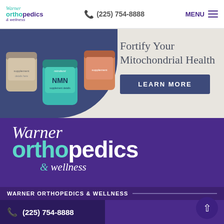Warner Orthopedics & Wellness | (225) 754-8888 | MENU
[Figure (screenshot): Promotional banner showing supplement jars (NMN and others) with text 'Fortify Your Mitochondrial Health' and 'LEARN MORE' button on beige/navy background]
Fortify Your Mitochondrial Health
LEARN MORE
[Figure (logo): Large Warner Orthopedics & Wellness logo in white on purple background]
WARNER ORTHOPEDICS & WELLNESS
(225) 754-8888